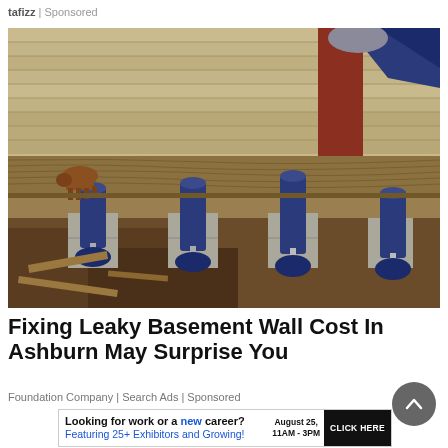tafizz | Sponsored
[Figure (photo): Photograph of the underside of a house foundation being lifted with hydraulic jacks. Blue bottle jacks support wooden beams under the house siding. Dirt and debris visible on the ground. Trees and a brown dog in the background.]
Fixing Leaky Basement Wall Cost In Ashburn May Surprise You
Foundation Company | Search Ads | Sponsored
Looking for work or a new career? August 25, 11AM - 3PM Featuring 25+ Exhibitors and Growing! CLICK HERE